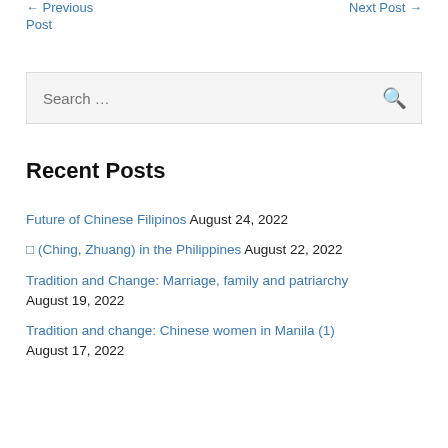← Previous Post   Next Post →
Post
Search …
Recent Posts
Future of Chinese Filipinos  August 24, 2022
𝄪 (Ching, Zhuang) in the Philippines  August 22, 2022
Tradition and Change: Marriage, family and patriarchy  August 19, 2022
Tradition and change: Chinese women in Manila (1)  August 17, 2022